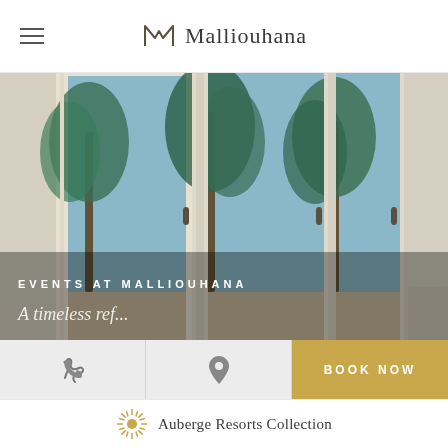Malliouhana
[Figure (photo): Hotel room view through white-framed glass doors showing tropical palm trees with blue sky, interior chairs visible. Overlay text: EVENTS AT MALLIOUHANA]
EVENTS AT MALLIOUHANA
By clicking “I Accept,” you agree to this website’s cookies. You can learn more here
Cookie Settings   ✓ I Accept   ×
Auberge Resorts Collection